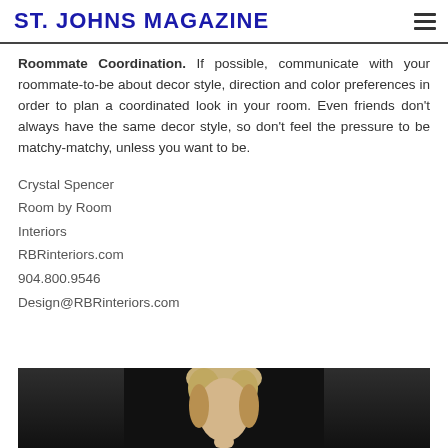ST. JOHNS MAGAZINE
Roommate Coordination. If possible, communicate with your roommate-to-be about decor style, direction and color preferences in order to plan a coordinated look in your room. Even friends don't always have the same decor style, so don't feel the pressure to be matchy-matchy, unless you want to be.
Crystal Spencer
Room by Room
Interiors
RBRinteriors.com
904.800.9546
Design@RBRinteriors.com
[Figure (photo): Partial photo of a person with blonde hair against a dark/black background, cropped at the bottom of the page.]